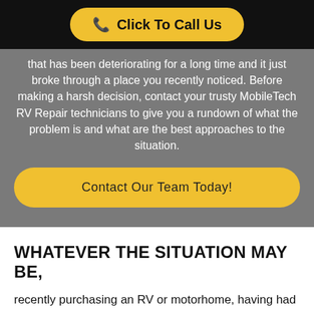Click To Call Us
that has been deteriorating for a long time and it just broke through a place you recently noticed. Before making a harsh decision, contact your trusty MobileTech RV Repair technicians to give you a rundown of what the problem is and what are the best approaches to the situation.
Contact Our Team Today!
WHATEVER THE SITUATION MAY BE,
recently purchasing an RV or motorhome, having had